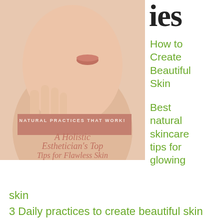[Figure (photo): Book cover showing a woman touching her face/neck, with a salmon-colored banner reading 'NATURAL PRACTICES THAT WORK!' and script text 'A Holistic Esthetician's Top Tips for Flawless Skin']
ies
How to Create Beautiful Skin
Best natural skincare tips for glowing skin
3 Daily practices to create beautiful skin